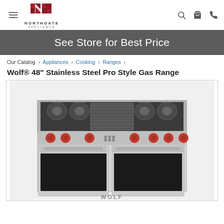[Figure (logo): Northgate Appliance logo with dark red N icon and text below]
See Store for Best Price
Our Catalog › Appliances › Cooking › Ranges ›
Wolf® 48" Stainless Steel Pro Style Gas Range
[Figure (photo): Wolf 48 inch stainless steel pro style gas range with red knobs, dual ovens with glass windows, and multiple gas burners on top including a griddle section]